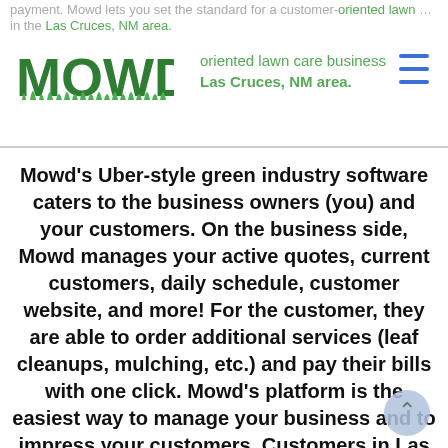payment. Mowd lets you set the standard for a customer-oriented lawn care business in the Las Cruces, NM area.
[Figure (logo): MOWD logo in bold green text with grass graphic at the bottom]
Mowd's Uber-style green industry software caters to the business owners (you) and your customers. On the business side, Mowd manages your active quotes, current customers, daily schedule, customer website, and more! For the customer, they are able to order additional services (leaf cleanups, mulching, etc.) and pay their bills with one click. Mowd's platform is the easiest way to manage your business and to impress your customers. Customers in Las Cruces, NM want easy, convenient lawn services that they can manage and pay for online. In our opinion, the best part about Mowd... no monthly fees! You can sign up today for FREE and use most of Mowd's features for absolutely nothing.